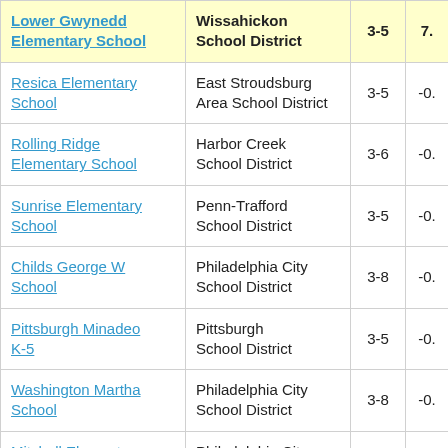| School | District | Grades | Score |
| --- | --- | --- | --- |
| Lower Gwynedd Elementary School | Wissahickon School District | 3-5 | 7. |
| Resica Elementary School | East Stroudsburg Area School District | 3-5 | -0. |
| Rolling Ridge Elementary School | Harbor Creek School District | 3-6 | -0. |
| Sunrise Elementary School | Penn-Trafford School District | 3-5 | -0. |
| Childs George W School | Philadelphia City School District | 3-8 | -0. |
| Pittsburgh Minadeo K-5 | Pittsburgh School District | 3-5 | -0. |
| Washington Martha School | Philadelphia City School District | 3-8 | -0. |
| Mitchell Elementary School | Philadelphia City School District | 3-8 | -0. |